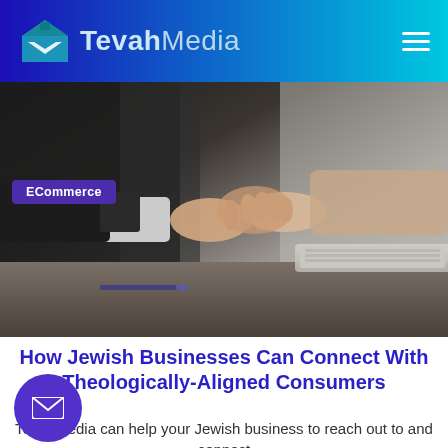TevahMedia
[Figure (photo): Two people shaking hands over a laptop on a desk, business agreement scene. An 'ECommerce' tag label overlays the top-left of the image.]
How Jewish Businesses Can Connect With Theologically-Aligned Consumers
TevahMedia can help your Jewish business to reach out to and connect